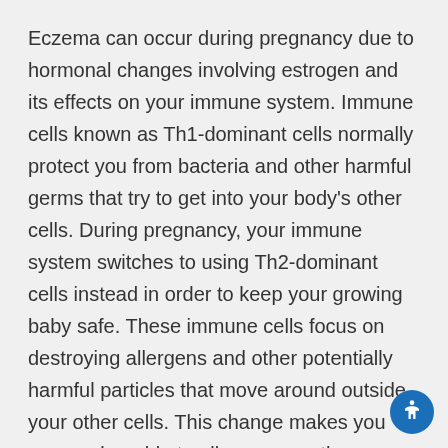Eczema can occur during pregnancy due to hormonal changes involving estrogen and its effects on your immune system. Immune cells known as Th1-dominant cells normally protect you from bacteria and other harmful germs that try to get into your body's other cells. During pregnancy, your immune system switches to using Th2-dominant cells instead in order to keep your growing baby safe. These immune cells focus on destroying allergens and other potentially harmful particles that move around outside your other cells. This change makes you more vulnerable to allergens or other triggers that cause eczema symptoms.
Researchers have found that the increased amount of estrogen produced during pregnancy is linked to